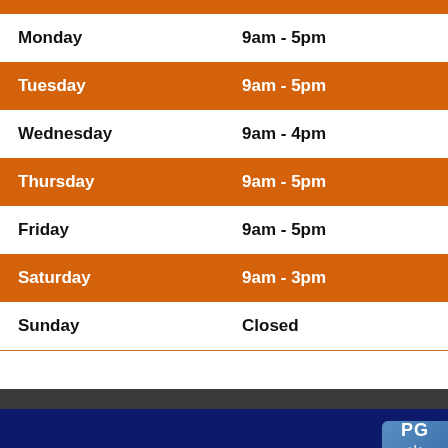| Day | Hours |
| --- | --- |
| Monday | 9am - 5pm |
| Tuesday | 9am - 5pm |
| Wednesday | 9am - 4pm |
| Thursday | 9am - 5pm |
| Friday | 9am - 5pm |
| Saturday | 9am - 3pm |
| Sunday | Closed |
SHOWROOM
Shop New In-Stock Inventory
Shop Used Inventory